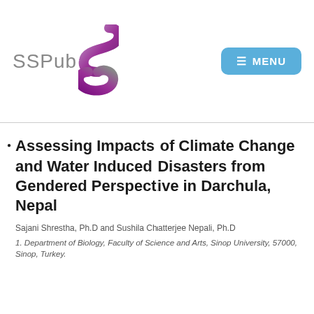[Figure (logo): SSPubS logo with stylized purple S ribbon graphic and grey text 'SSPub']
Assessing Impacts of Climate Change and Water Induced Disasters from Gendered Perspective in Darchula, Nepal
Sajani Shrestha, Ph.D and Sushila Chatterjee Nepali, Ph.D
1. Department of Biology, Faculty of Science and Arts, Sinop University, 57000, Sinop, Turkey.